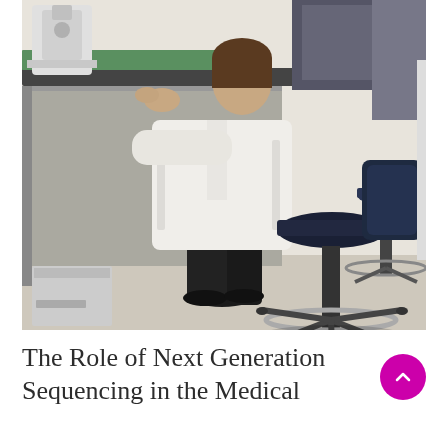[Figure (photo): A person wearing a white lab coat sitting on a tall ergonomic laboratory stool, working at a lab bench with scientific equipment (microscope or similar instrument). A second similar stool is visible in the background. The lab has a light-colored floor and counter surfaces with a green mat.]
The Role of Next Generation Sequencing in the Medical